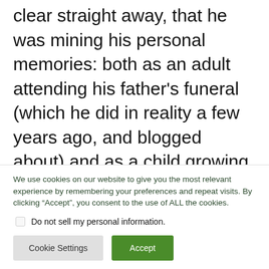clear straight away, that he was mining his personal memories: both as an adult attending his father's funeral (which he did in reality a few years ago, and blogged about) and as a child growing up (one county over from where I would grow up during the following decade).
We use cookies on our website to give you the most relevant experience by remembering your preferences and repeat visits. By clicking “Accept”, you consent to the use of ALL the cookies.
Do not sell my personal information.
Cookie Settings
Accept